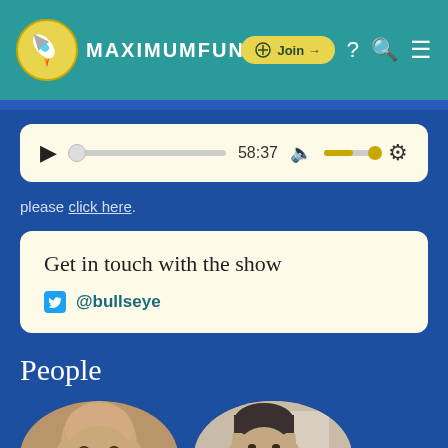MAXIMUMFUN
[Figure (screenshot): Audio player with play button, progress bar showing 58:37, volume control, and settings gear icon]
please click here.
Get in touch with the show
@bullseye
People
[Figure (photo): Two circular portrait photos of people, partially cropped at bottom of page]